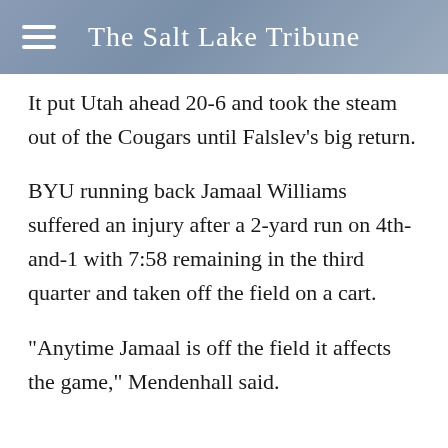The Salt Lake Tribune
It put Utah ahead 20-6 and took the steam out of the Cougars until Falslev's big return.
BYU running back Jamaal Williams suffered an injury after a 2-yard run on 4th-and-1 with 7:58 remaining in the third quarter and taken off the field on a cart.
"Anytime Jamaal is off the field it affects the game," Mendenhall said.